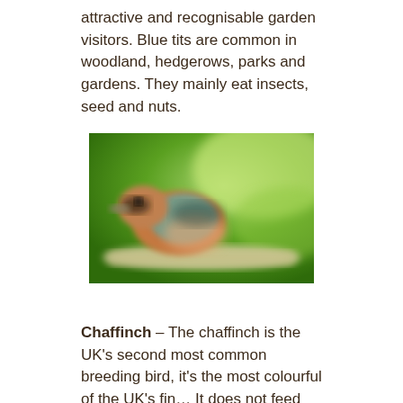attractive and recognisable garden visitors. Blue tits are common in woodland, hedgerows, parks and gardens. They mainly eat insects, seed and nuts.
[Figure (photo): A blurry close-up photograph of a chaffinch bird perched on a branch, showing colourful plumage with orange-brown, teal and green tones against a green bokeh background.]
Chaffinch – The chaffinch is the UK's second most common breeding bird, it's the most colourful of the UK's fin… It does not feed openly on bird feeders, it prefers to hop about under the bird table.